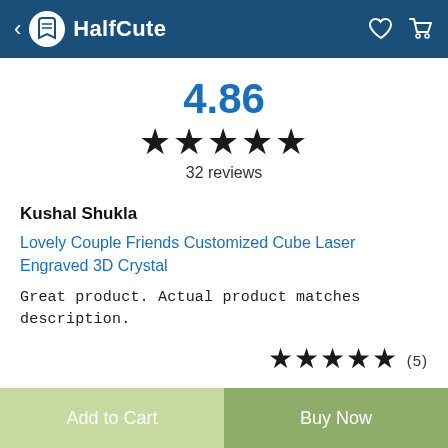HalfCute
4.86
★★★★★
32 reviews
Kushal Shukla
Lovely Couple Friends Customized Cube Laser Engraved 3D Crystal
Great product. Actual product matches description.
★★★★★ (5)
Add to Cart
Buy Now